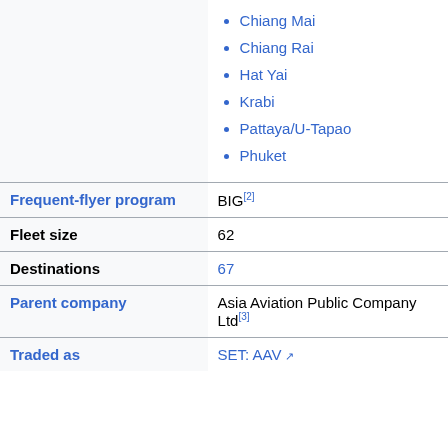Chiang Mai
Chiang Rai
Hat Yai
Krabi
Pattaya/U-Tapao
Phuket
| Field | Value |
| --- | --- |
| Frequent-flyer program | BIG[2] |
| Fleet size | 62 |
| Destinations | 67 |
| Parent company | Asia Aviation Public Company Ltd[3] |
| Traded as | SET: AAV ↗ |